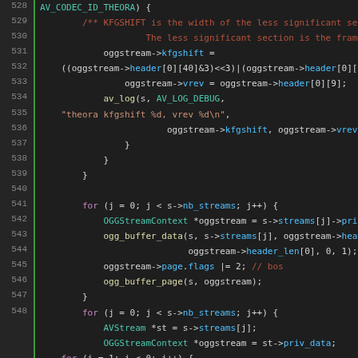Source code listing, lines 528–548, C code for OGG stream handling (FFmpeg/libavformat)